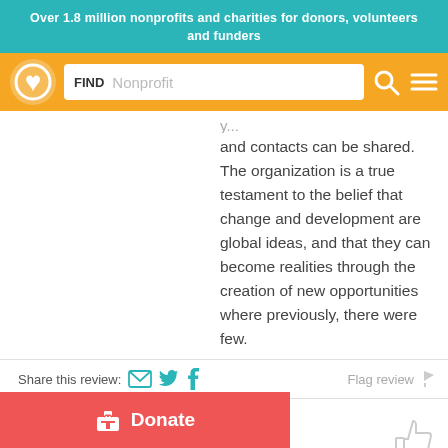Over 1.8 million nonprofits and charities for donors, volunteers and funders
[Figure (screenshot): Navigation bar with logo (heart icon), search box with FIND Nonprofit label, search icon, and hamburger menu icon on orange background]
and contacts can be shared. The organization is a true testament to the belief that change and development are global ideas, and that they can become realities through the creation of new opportunities where previously, there were few.
Share this review:  [email icon] [twitter icon] [facebook icon]      Flag review [flag icon]
SallyVolunteer
Volunteer
★★★★★ 09/07/2011
Donate